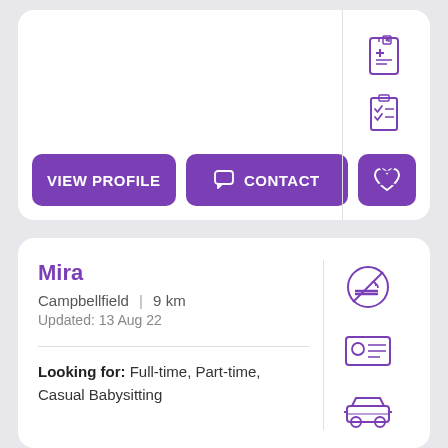[Figure (screenshot): Top card showing View Profile, Contact, and heart buttons with icons (first-aid, checklist, person) in right column]
[Figure (infographic): Profile card for Mira, Campbellfield, 9km, Updated 13 Aug 22, with icons (no-smoking, ID card, car) and Looking for: Full-time, Part-time, Casual Babysitting]